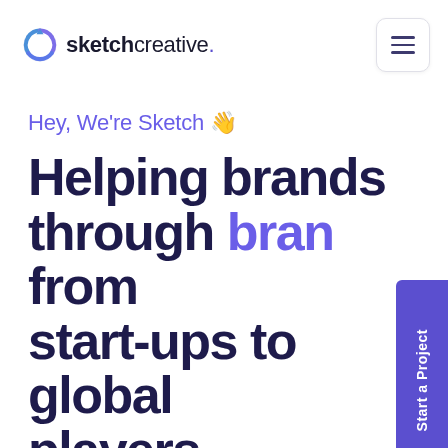[Figure (logo): Sketchcreative logo with circular icon and text 'sketchcreative.' with a purple dot]
[Figure (other): Hamburger menu button with three horizontal lines in a rounded rectangle]
Hey, We're Sketch 👋
Helping brands through bran  from start-ups to global players
We're an award-winning digital agency that matches strategy with beautiful design to get your business seen, heard and loved. W
[Figure (other): Vertical purple sidebar button reading 'Start a Project']